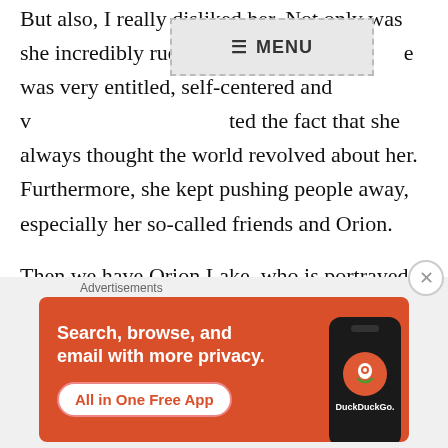But also, I really disliked her. Not only was she incredibly rude all the time, she was very entitled, self-centered and wanted the fact that she always thought the world revolved about her. Furthermore, she kept pushing people away, especially her so-called friends and Orion.
Then we have Orion Lake, who is portrayed as the hero, saving so many lives. Which he is. But he also is this person that can't speak for himself, and seems like he does whatever other people tell him to do.
And the romance between them was very non-
[Figure (other): DuckDuckGo advertisement banner: orange background with text 'Search, browse, and email with more privacy. All in One Free App' and a phone graphic with DuckDuckGo logo]